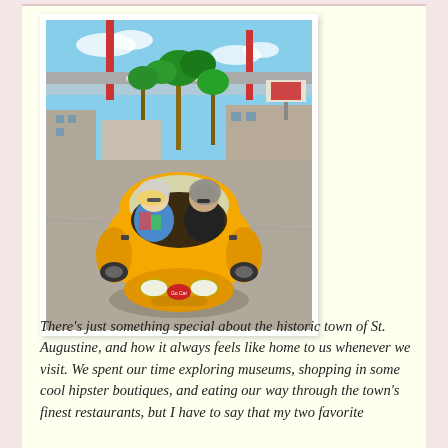[Figure (photo): Two people sitting in a small yellow GoCar (a tiny sports car-shaped vehicle) in a parking lot or gas station area. They are wearing helmets. Palm trees and a gas station canopy are visible in the background. The car has headlights and a distinctive curved yellow body.]
There's just something special about the historic town of St. Augustine, and how it always feels like home to us whenever we visit. We spent our time exploring museums, shopping in some cool hipster boutiques, and eating our way through the town's finest restaurants, but I have to say that my two favorite activities involved a lot more adventure, I...